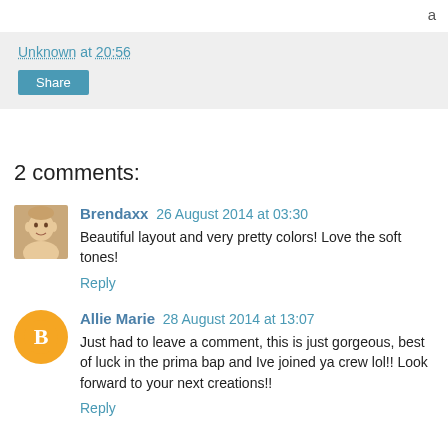a
Unknown at 20:56
Share
2 comments:
Brendaxx 26 August 2014 at 03:30
Beautiful layout and very pretty colors! Love the soft tones!
Reply
Allie Marie 28 August 2014 at 13:07
Just had to leave a comment, this is just gorgeous, best of luck in the prima bap and Ive joined ya crew lol!! Look forward to your next creations!!
Reply